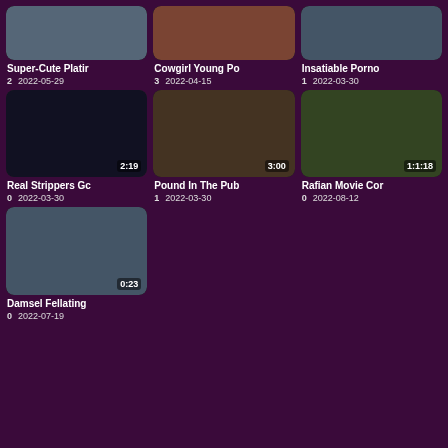[Figure (screenshot): Video grid showing thumbnails with titles and dates]
Super-Cute Platir
2   2022-05-29
Cowgirl Young Po
3   2022-04-15
Insatiable Porno
1   2022-03-30
Real Strippers Gc
0   2022-03-30
Pound In The Pub
1   2022-03-30
Rafian Movie Cor
0   2022-08-12
Damsel Fellating
0   2022-07-19